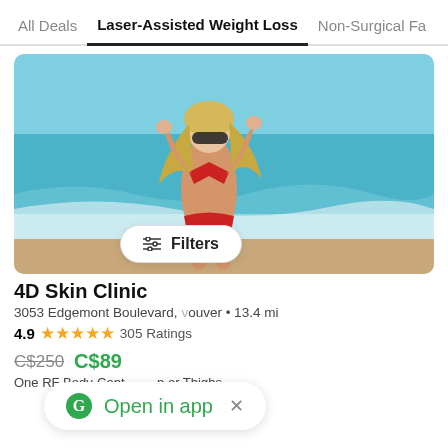All Deals  |  Laser-Assisted Weight Loss  |  Non-Surgical Fa...
[Figure (photo): Woman in red bikini standing at beach with arms raised, turquoise ocean water in background]
4D Skin Clinic
3053 Edgemont Boulevard, Vancouver • 13.4 mi
4.9 ★★★★★ 305 Ratings
C$250  C$89
One RF Body-Contouring Treatment for Abdomen or Thighs